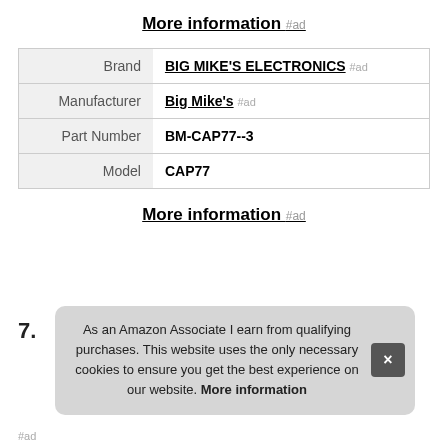More information #ad
| Brand | BIG MIKE'S ELECTRONICS #ad |
| Manufacturer | Big Mike's #ad |
| Part Number | BM-CAP77--3 |
| Model | CAP77 |
More information #ad
7.
As an Amazon Associate I earn from qualifying purchases. This website uses the only necessary cookies to ensure you get the best experience on our website. More information
#ad